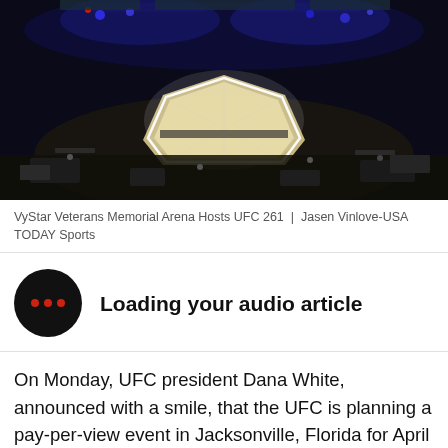[Figure (photo): Aerial view of VyStar Veterans Memorial Arena set up for UFC 261, showing the octagon in the center of a dark arena with blue lighting and equipment around the ring.]
VyStar Veterans Memorial Arena Hosts UFC 261  |  Jasen Vinlove-USA TODAY Sports
Loading your audio article
On Monday, UFC president Dana White, announced with a smile, that the UFC is planning a pay-per-view event in Jacksonville, Florida for April 24th. Three title